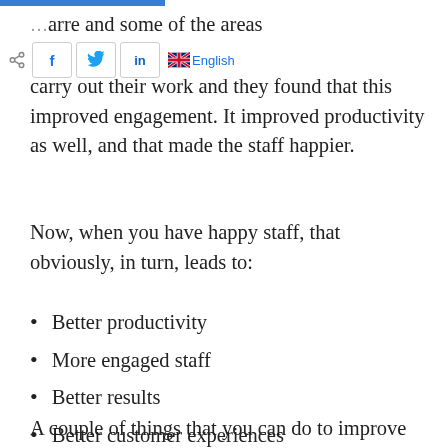carry out their work and they found that this improved engagement. It improved productivity as well, and that made the staff happier.
Now, when you have happy staff, that obviously, in turn, leads to:
Better productivity
More engaged staff
Better results
Better customer experiences
A couple of things that you can do to improve